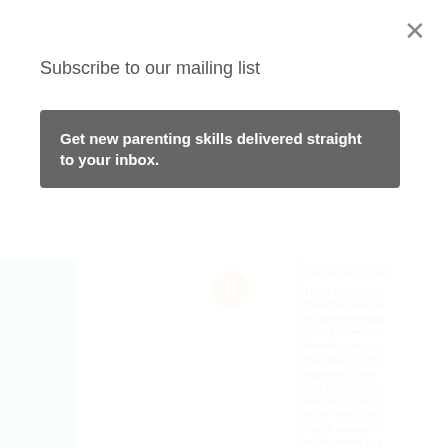Subscribe to our mailing list
Get new parenting skills delivered straight to your inbox.
Karenchains said...
I have been marrie through a tremend social/interpersona goals become wor beautiful, ease, co But I have to remi beginning. I woul may be impossible have to let a lot of of the Year" at the couple scenario. (I in life, wanted to g place. I don't mear ever be complicit knowledge, learne applying it to life r important. Your as you will learn fror others. You have a